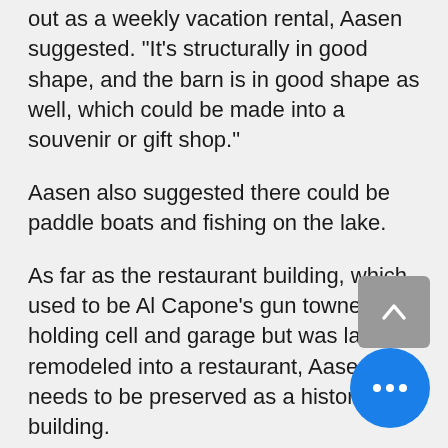out as a weekly vacation rental, Aasen suggested. "It's structurally in good shape, and the barn is in good shape as well, which could be made into a souvenir or gift shop."
Aasen also suggested there could be paddle boats and fishing on the lake.
As far as the restaurant building, which used to be Al Capone's gun towner, holding cell and garage but was later remodeled into a restaurant, Aasen said needs to be preserved as a historic building.
"There is water on the floor of the garage and the roof is in bad shape," Aasen said. The work would cost